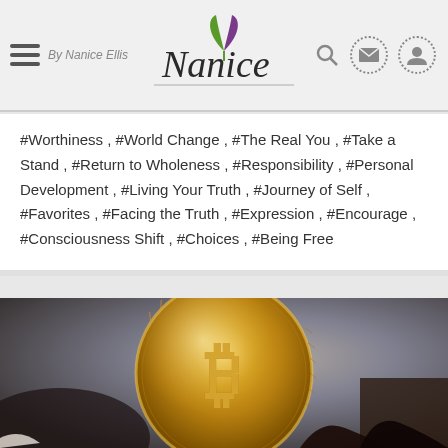Nanice | By Nanice Ellis
#Worthiness , #World Change , #The Real You , #Take a Stand , #Return to Wholeness , #Responsibility , #Personal Development , #Living Your Truth , #Journey of Self , #Favorites , #Facing the Truth , #Expression , #Encourage , #Consciousness Shift , #Choices , #Being Free
[Figure (photo): Close-up photograph of a gold Bitcoin coin against a blurred dark background]